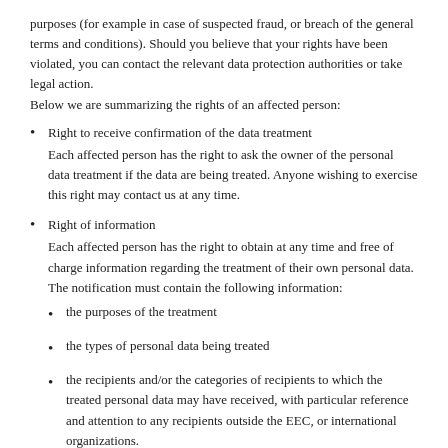purposes (for example in case of suspected fraud, or breach of the general terms and conditions). Should you believe that your rights have been violated, you can contact the relevant data protection authorities or take legal action.
Below we are summarizing the rights of an affected person:
Right to receive confirmation of the data treatment
Each affected person has the right to ask the owner of the personal data treatment if the data are being treated. Anyone wishing to exercise this right may contact us at any time.
Right of information
Each affected person has the right to obtain at any time and free of charge information regarding the treatment of their own personal data. The notification must contain the following information:
the purposes of the treatment
the types of personal data being treated
the recipients and/or the categories of recipients to which the treated personal data may have received, with particular reference and attention to any recipients outside the EEC, or international organizations.